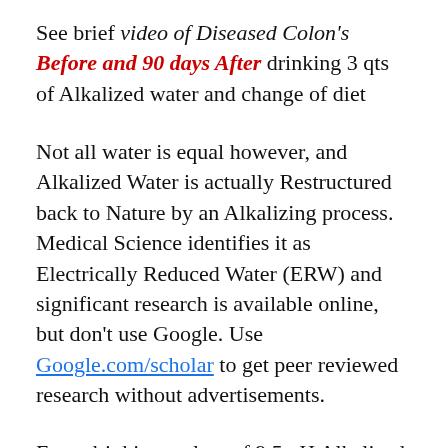See brief video of Diseased Colon's Before and 90 days After drinking 3 qts of Alkalized water and change of diet
Not all water is equal however, and Alkalized Water is actually Restructured back to Nature by an Alkalizing process. Medical Science identifies it as Electrically Reduced Water (ERW) and significant research is available online, but don't use Google. Use Google.com/scholar to get peer reviewed research without advertisements.
Even drinking a glass of 9.5 pH Alkalized water when you have Acid Reflux can neutralize your stomach better and more naturally than using